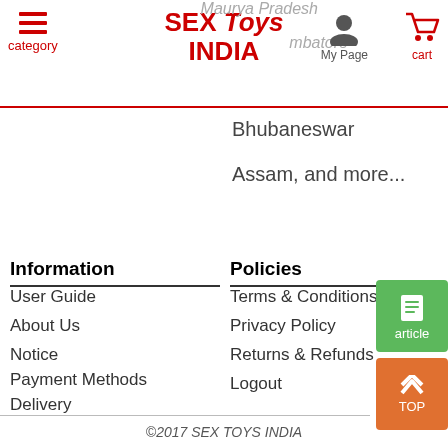category | SEX Toys INDIA | My Page | cart
Bhubaneswar
Assam, and more...
Information
User Guide
About Us
Notice
Payment Methods
Delivery
Track Order
FAQ
Customer Service
Policies
Terms & Conditions
Privacy Policy
Returns & Refunds
Logout
©2017 SEX TOYS INDIA